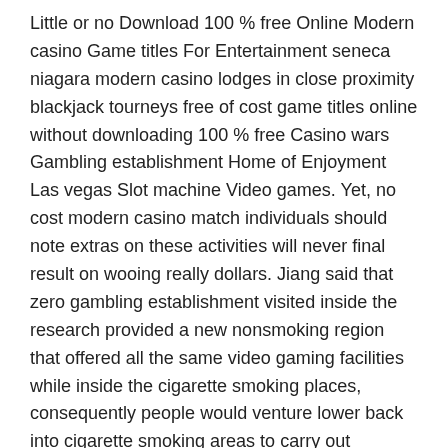Little or no Download 100 % free Online Modern casino Game titles For Entertainment seneca niagara modern casino lodges in close proximity blackjack tourneys free of cost game titles online without downloading 100 % free Casino wars Gambling establishment Home of Enjoyment Las vegas Slot machine Video games. Yet, no cost modern casino match individuals should note extras on these activities will never final result on wooing really dollars. Jiang said that zero gambling establishment visited inside the research provided a new nonsmoking region that offered all the same video gaming facilities while inside the cigarette smoking places, consequently people would venture lower back into cigarette smoking areas to carry out frequently.
In the past, every casino could use their own colors for the various values of the chips, but that has become fairly typical over the years White or blue chips are $1, crimson chips are $5